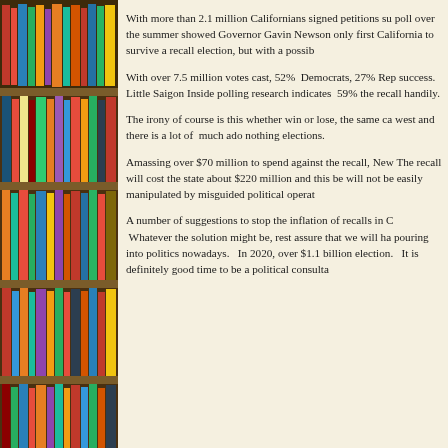[Figure (photo): Bookshelf with colorful books on the left side of the page]
With more than 2.1 million Californians signed petitions su poll over the summer showed Governor Gavin Newson only first California to survive a recall election, but with a possib
With over 7.5 million votes cast, 52%  Democrats, 27% Rep success.  Little Saigon Inside polling research indicates  59% the recall handily.
The irony of course is this whether win or lose, the same ca west and there is a lot of  much ado nothing elections.
Amassing over $70 million to spend against the recall, New The recall will cost the state about $220 million and this be will not be easily manipulated by misguided political operat
A number of suggestions to stop the inflation of recalls in C Whatever the solution might be, rest assure that we will ha pouring into politics nowadays.   In 2020, over $1.1 billion election.   It is definitely good time to be a political consulta